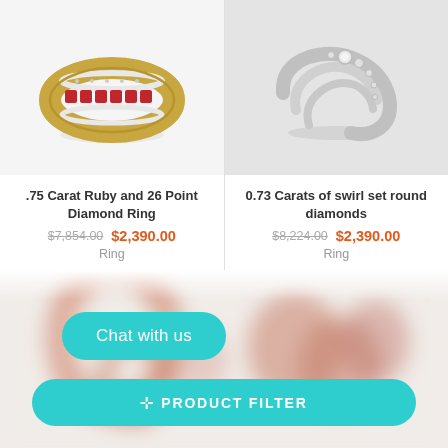[Figure (photo): Gold and ruby ring with diamond accents - product listing image]
.75 Carat Ruby and 26 Point Diamond Ring
$7,854.00  $2,390.00
Ring
[Figure (photo): White gold swirl ring with round diamonds - product listing image]
0.73 Carats of swirl set round diamonds
$8,224.00  $2,390.00
Ring
[Figure (photo): Blurred rose gold jewelry items in lower section background]
Chat with us
PRODUCT FILTER